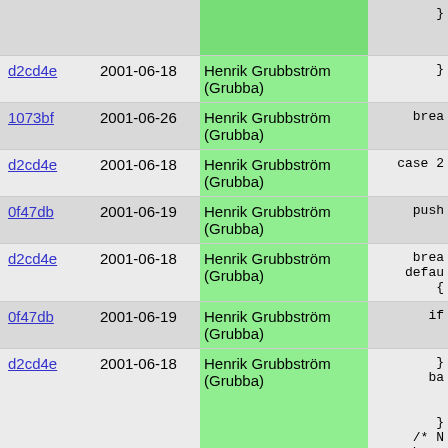| hash | date | author | code |
| --- | --- | --- | --- |
|  |  |  | } |
| d2cd4e | 2001-06-18 | Henrik Grubbström (Grubba) | } |
| 1073bf | 2001-06-26 | Henrik Grubbström (Grubba) | brea |
| d2cd4e | 2001-06-18 | Henrik Grubbström (Grubba) | case 2 |
| 0f47db | 2001-06-19 | Henrik Grubbström (Grubba) | push |
| d2cd4e | 2001-06-18 | Henrik Grubbström (Grubba) | brea
defau
{ |
| 0f47db | 2001-06-19 | Henrik Grubbström (Grubba) | if |
| d2cd4e | 2001-06-18 | Henrik Grubbström (Grubba) | }
ba


}
/* N
brea |
| d27df5 | 2001-06-18 | Henrik Grubbström (Grubba) | } |
| d2cd4e | 2001-06-18 | Henrik Grubbström (Grubba) | }
if (end |